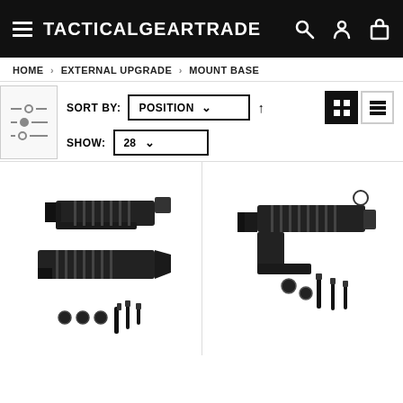TACTICALGEARTRADE
HOME > EXTERNAL UPGRADE > MOUNT BASE
SORT BY: POSITION ↑
SHOW: 28
[Figure (photo): Black plastic mount base components with screws and bolts on white background]
[Figure (photo): Black plastic mount base bracket with screws and bolts on white background]